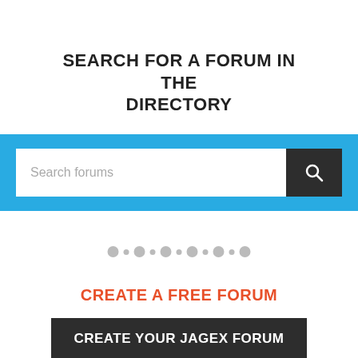SEARCH FOR A FORUM IN THE DIRECTORY
[Figure (screenshot): Search bar with placeholder text 'Search forums' and a dark search button with magnifying glass icon, set in a blue background bar]
[Figure (other): Row of alternating large and small gray dots as a decorative separator]
CREATE A FREE FORUM
CREATE YOUR JAGEX FORUM